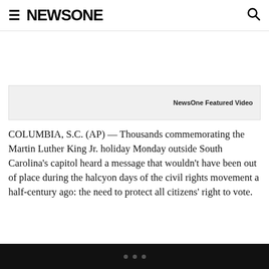≡ NEWSONE [search icon]
[Figure (other): NewsOne Featured Video placeholder box with label 'NewsOne Featured Video' on the right side]
COLUMBIA, S.C. (AP) — Thousands commemorating the Martin Luther King Jr. holiday Monday outside South Carolina's capitol heard a message that wouldn't have been out of place during the halcyon days of the civil rights movement a half-century ago: the need to protect all citizens' right to vote.